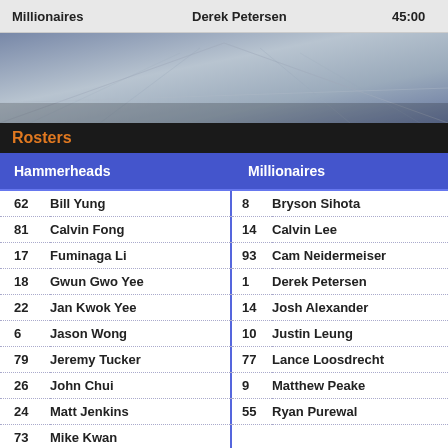|  | Millionaires |  | Derek Petersen |  | 45:00 |
| --- | --- | --- | --- | --- | --- |
[Figure (photo): Interior arena/stadium photo with structural ceiling visible]
Rosters
| Hammerheads |  | Millionaires |
| --- | --- | --- |
| 62 | Bill Yung | 8 | Bryson Sihota |
| 81 | Calvin Fong | 14 | Calvin Lee |
| 17 | Fuminaga Li | 93 | Cam Neidermeiser |
| 18 | Gwun Gwo Yee | 1 | Derek Petersen |
| 22 | Jan Kwok Yee | 14 | Josh Alexander |
| 6 | Jason Wong | 10 | Justin Leung |
| 79 | Jeremy Tucker | 77 | Lance Loosdrecht |
| 26 | John Chui | 9 | Matthew Peake |
| 24 | Matt Jenkins | 55 | Ryan Purewal |
| 73 | Mike Kwan |  |  |